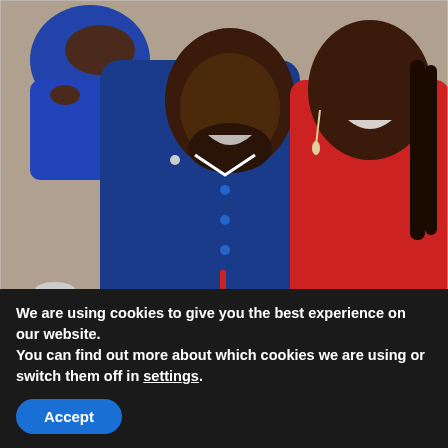[Figure (photo): A man in a blue button-up shirt laughing and playing with a baby in a blue outfit, while a woman in a red dress smiles next to him. A family photo portrait.]
Corazon Kwamboka Says She Wasn’t Down For A Serious Relationship With Frankie Just Gym It
August 1, 2022
We are using cookies to give you the best experience on our website.
You can find out more about which cookies we are using or switch them off in settings.
Accept